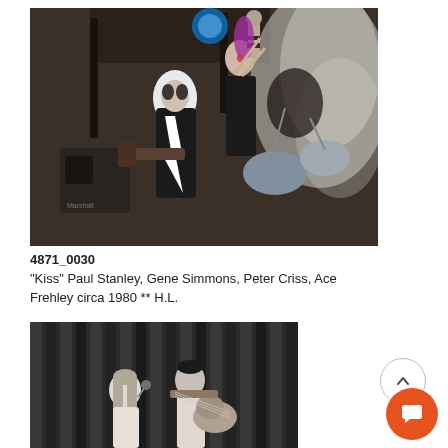[Figure (photo): Color concert photo of KISS band members performing on stage with dramatic lighting and smoke. Members in full KISS makeup and costumes, one raising fist, another with drumsticks.]
4871_0030
"Kiss" Paul Stanley, Gene Simmons, Peter Criss, Ace Frehley circa 1980 ** H.L.
[Figure (photo): Black and white photo of two performers on stage in front of curtain, a woman singing and a man playing guitar.]